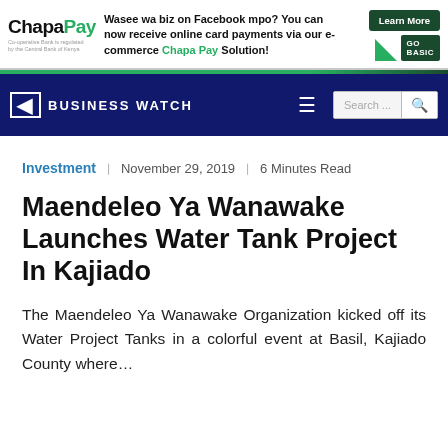[Figure (infographic): ChaaPay banner advertisement. Text reads: 'Wasee wa biz on Facebook mpo? You can now receive online card payments via our e-commerce Chapa Pay Solution!' with a 'Learn More' button and 'GO BASIC' button on the right.]
BUSINESS WATCH
Investment  ❙  November 29, 2019  ❙  6 Minutes Read
Maendeleo Ya Wanawake Launches Water Tank Project In Kajiado
The Maendeleo Ya Wanawake Organization kicked off its Water Project Tanks in a colorful event at Basil, Kajiado County where…